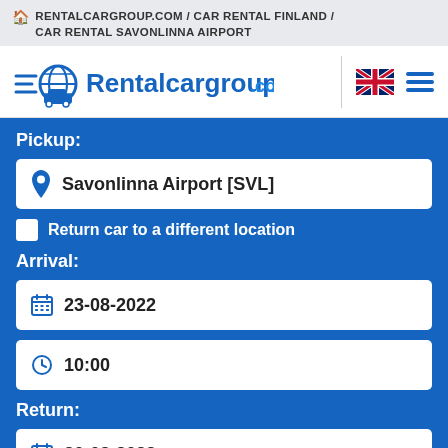🏠 RENTALCARGROUP.COM/CAR RENTAL FINLAND/
CAR RENTAL SAVONLINNA AIRPORT
[Figure (logo): Rentalcargroup.com logo with globe and car icon in blue, with UK flag and hamburger menu icons on the right]
Pickup:
📍 Savonlinna Airport [SVL]
Return car to a different location
Arrival:
📅 23-08-2022
🕐 10:00
Return:
📅 30-08-2022